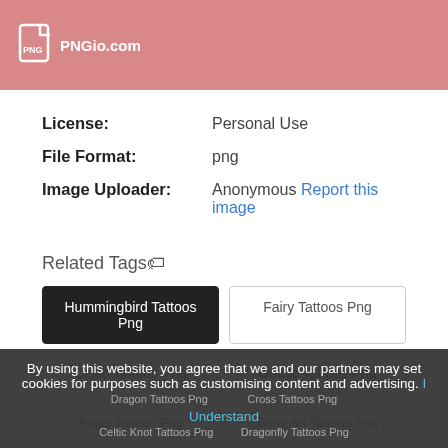PNGio.com
License: Personal Use
File Format: png
Image Uploader: Anonymous Report this image
Related Tags🏷
Hummingbird Tattoos Png
Fairy Tattoos Png
Celtic Tattoos Png
Gothic Tattoos Png
Angel Tattoos Png
Body Art Tattoos Png
Dragon Tattoos Png
Cross Tattoos Png
Celtic Knot Tattoos Png
Dragonfly Tattoos Png
By using this website, you agree that we and our partners may set cookies for purposes such as customising content and advertising. I Understand